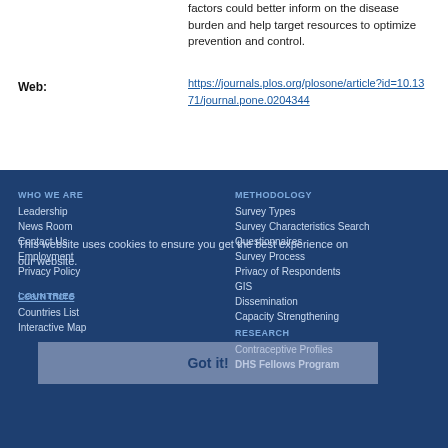factors could better inform on the disease burden and help target resources to optimize prevention and control.
Web:
https://journals.plos.org/plosone/article?id=10.1371/journal.pone.0204344
WHO WE ARE
Leadership
News Room
Contact Us
Employment
Privacy Policy
METHODOLOGY
Survey Types
Survey Characteristics Search
Questionnaires
Survey Process
Privacy of Respondents
GIS
Dissemination
Capacity Strengthening
COUNTRIES
Countries List
Interactive Map
RESEARCH
Contraceptive Profiles
DHS Fellows Program
This website uses cookies to ensure you get the best experience on our website.
Learn more
Got it!